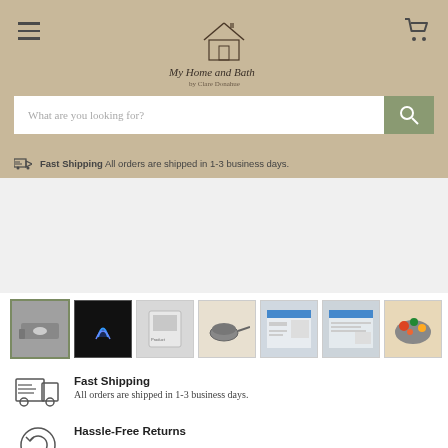My Home and Bath
What are you looking for?
Fast Shipping All orders are shipped in 1-3 business days.
[Figure (photo): Product thumbnail strip showing a portable gas stove/cooktop from multiple angles: device alone, blue flame lit, in packaging, with pan, product sheets, and with food]
Fast Shipping
All orders are shipped in 1-3 business days.
Hassle-Free Returns